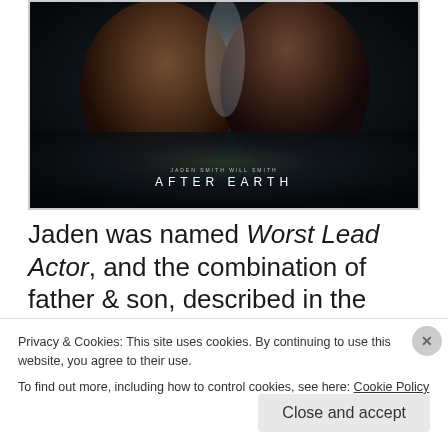[Figure (photo): Movie poster for 'After Earth' showing two young men's faces close up against a dark background, with the text 'JADEN SMITH WILL SMITH' and 'AFTER EARTH' at the bottom]
Jaden was named Worst Lead Actor, and the combination of father & son, described in the
Privacy & Cookies: This site uses cookies. By continuing to use this website, you agree to their use.
To find out more, including how to control cookies, see here: Cookie Policy
Close and accept